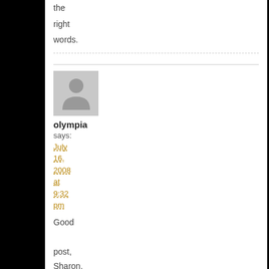the right words.
[Figure (illustration): Default user avatar — grey silhouette of a person on a light grey background]
olympia says: July 16, 2008 at 9:32 pm
Good post, Sharon. Monica- when I first brought up